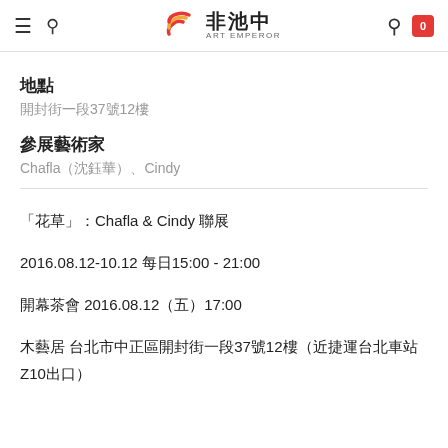非池中 ART EMPEROR
地點
開封街一段37號12樓
參展藝術家
Chafla（沈鈺華）、Cindy
「花草」：Chafla & Cindy 聯展
2016.08.12-10.12 每日15:00 - 21:00
開幕茶會 2016.08.12（五）17:00
木藝居 台北市中正區開封街一段37號12樓（近捷運台北車站Z10出口）